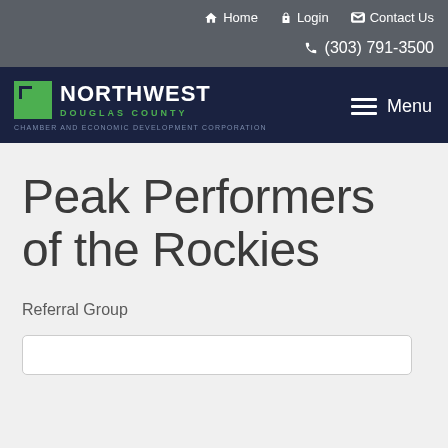Home  Login  Contact Us  (303) 791-3500
[Figure (logo): Northwest Douglas County Chamber and Economic Development Corporation logo with green square icon, white bold NORTHWEST text, green DOUGLAS COUNTY text, and hamburger Menu button on the right]
Peak Performers of the Rockies
Referral Group